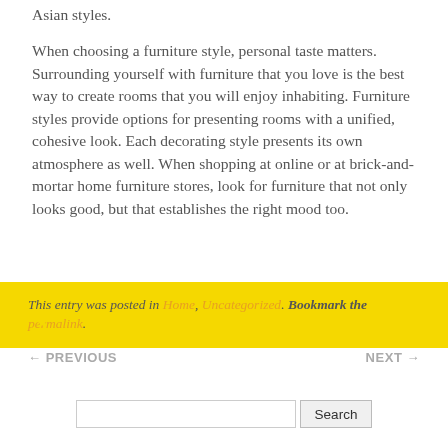Asian styles.
When choosing a furniture style, personal taste matters. Surrounding yourself with furniture that you love is the best way to create rooms that you will enjoy inhabiting. Furniture styles provide options for presenting rooms with a unified, cohesive look. Each decorating style presents its own atmosphere as well. When shopping at online or at brick-and-mortar home furniture stores, look for furniture that not only looks good, but that establishes the right mood too.
This entry was posted in Home, Uncategorized. Bookmark the permalink.
← PREVIOUS
NEXT →